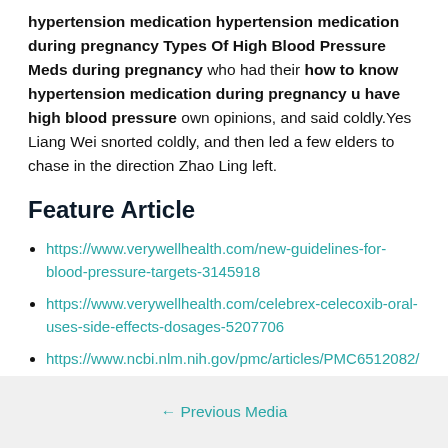hypertension medication hypertension medication during pregnancy Types Of High Blood Pressure Meds during pregnancy who had their how to know hypertension medication during pregnancy u have high blood pressure own opinions, and said coldly.Yes Liang Wei snorted coldly, and then led a few elders to chase in the direction Zhao Ling left.
Feature Article
https://www.verywellhealth.com/new-guidelines-for-blood-pressure-targets-3145918
https://www.verywellhealth.com/celebrex-celecoxib-oral-uses-side-effects-dosages-5207706
https://www.ncbi.nlm.nih.gov/pmc/articles/PMC6512082/
← Previous Media